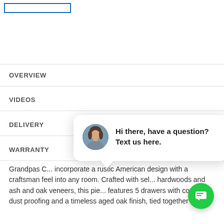[Figure (screenshot): Search box with blue border at top of page]
OVERVIEW
VIDEOS
DELIVERY
WARRANTY
Grandpas C... incorporate a rustic American design with a craftsman feel into any room. Crafted with sel... hardwoods and ash and oak veneers, this pie... features 5 drawers with complete dust proofing and a timeless aged oak finish, tied together by
[Figure (screenshot): Chat popup with female avatar and text: Hi there, have a question? Text us here.]
[Figure (screenshot): Green floating chat button with message icon]